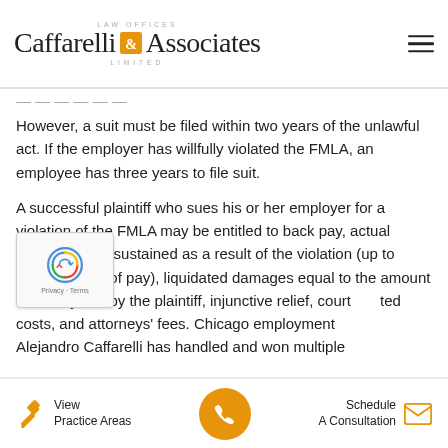LAW OFFICES Caffarelli & Associates LIMITED
However, a suit must be filed within two years of the unlawful act. If the employer has willfully violated the FMLA, an employee has three years to file suit.
A successful plaintiff who sues his or her employer for a violation of the FMLA may be entitled to back pay, actual monetary loss sustained as a result of the violation (up to twelve weeks of pay), liquidated damages equal to the amount of money lost by the plaintiff, injunctive relief, court [rela]ted costs, and attorneys' fees. Chicago employment [attorney] Alejandro Caffarelli has handled and won multiple
View Practice Areas | (phone) | Schedule A Consultation